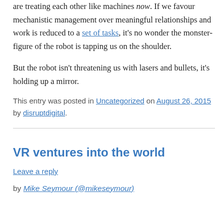are treating each other like machines now. If we favour mechanistic management over meaningful relationships and work is reduced to a set of tasks, it's no wonder the monster-figure of the robot is tapping us on the shoulder.
But the robot isn't threatening us with lasers and bullets, it's holding up a mirror.
This entry was posted in Uncategorized on August 26, 2015 by disruptdigital.
VR ventures into the world
Leave a reply
by Mike Seymour (@mikeseymour)